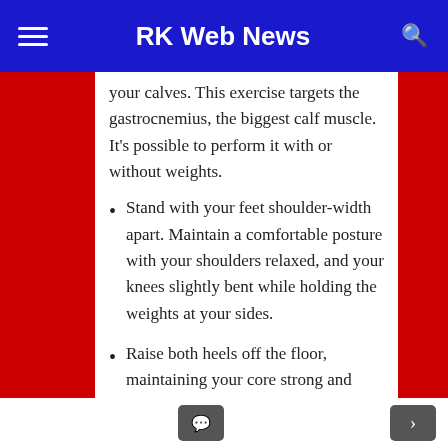RK Web News
your calves. This exercise targets the gastrocnemius, the biggest calf muscle. It’s possible to perform it with or without weights.
Stand with your feet shoulder-width apart. Maintain a comfortable posture with your shoulders relaxed, and your knees slightly bent while holding the weights at your sides.
Raise both heels off the floor, maintaining your core strong and shoulders back.
Pause at the peak, then lower your heels to the ground.
Perform two or three sets with 15 repetitions. You can use a lesser or bigger weight or complete the workout without any weights if you like.